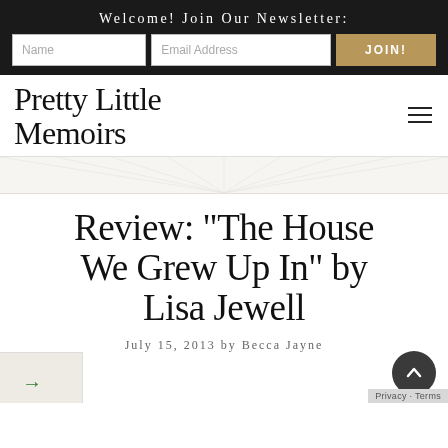Welcome! Join Our Newsletter:
Name | Email Address | JOIN!
Pretty Little Memoirs
Review: “The House We Grew Up In” by Lisa Jewell
July 15, 2013 by Becca Jayne